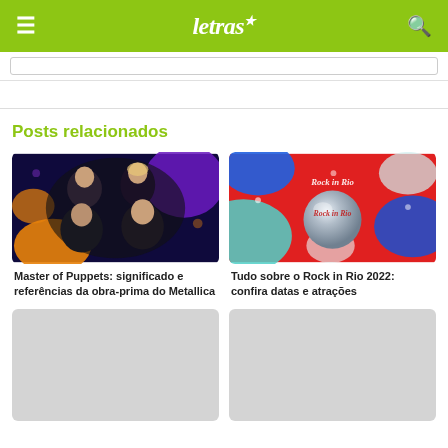letras
Posts relacionados
[Figure (photo): Metallica band members group photo on dark purple/navy background with orange and purple blob shapes]
Master of Puppets: significado e referências da obra-prima do Metallica
[Figure (photo): Rock in Rio 2022 promotional graphic with red background, blue blob shapes, and metallic sphere with Rock in Rio logo]
Tudo sobre o Rock in Rio 2022: confira datas e atrações
[Figure (photo): Placeholder image card (gray)]
[Figure (photo): Placeholder image card (gray)]